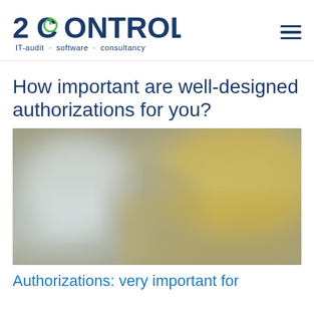2CONTROL IT-audit · software · consultancy
How important are well-designed authorizations for you?
[Figure (photo): Abstract blurred background image with blue, grey and golden/yellow tones, suggesting a professional or corporate environment]
Authorizations: very important for